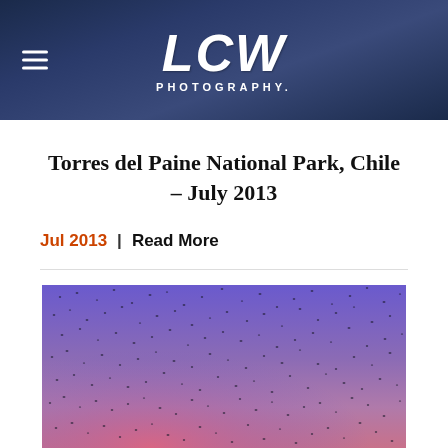LCW Photography
Torres del Paine National Park, Chile – July 2013
Jul 2013  |  Read More
[Figure (photo): A flock of thousands of birds flying against a purple and pink twilight sky]